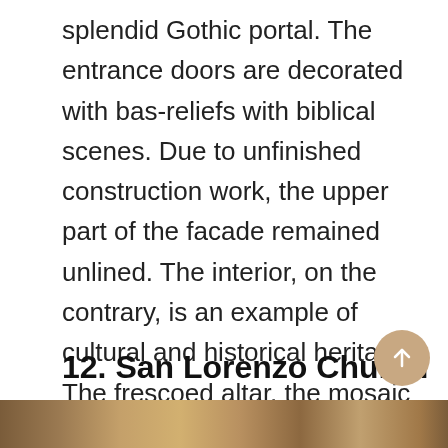splendid Gothic portal. The entrance doors are decorated with bas-reliefs with biblical scenes. Due to unfinished construction work, the upper part of the facade remained unlined. The interior, on the contrary, is an example of cultural and historical heritage. The frescoed altar, the mosaic floor made of stone, the most beautiful chapels can amaze the imagination of even the most sophisticated tourists.
12. San Lorenzo Church
[Figure (photo): Bottom strip showing a partial photograph of San Lorenzo Church or related imagery, cropped at page bottom]